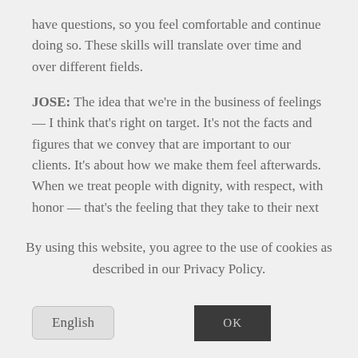have questions, so you feel comfortable and continue doing so. These skills will translate over time and over different fields.
JOSE: The idea that we're in the business of feelings — I think that's right on target. It's not the facts and figures that we convey that are important to our clients. It's about how we make them feel afterwards. When we treat people with dignity, with respect, with honor — that's the feeling that they take to their next
By using this website, you agree to the use of cookies as described in our Privacy Policy.
English
OK